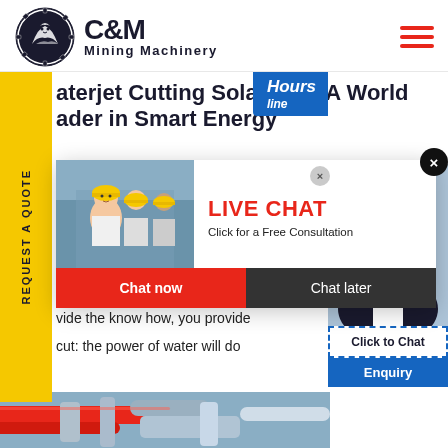C&M Mining Machinery
aterjet Cutting SolarEdge A World ader in Smart Energy
erior Cu s know- erjet cu cess story is our greatest testi t guarantee that we can offer a vide the know how, you provide cut: the power of water will do
[Figure (screenshot): Live Chat popup overlay with workers photo, LIVE CHAT title in red, Click for a Free Consultation text, Chat now and Chat later buttons]
[Figure (photo): Right side chat widget with female agent wearing headset, Click to Chat box with dashed border, Enquiry text in blue box]
[Figure (photo): Bottom strip showing industrial pipes/machinery in red and blue tones]